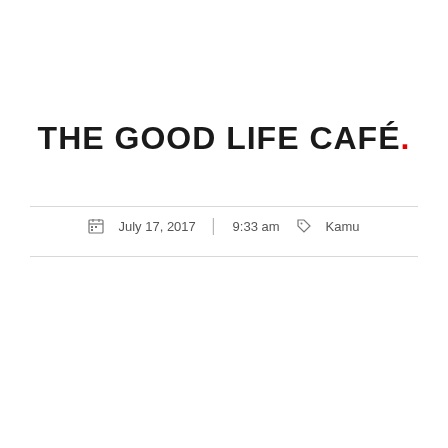THE GOOD LIFE CAFÉ.
July 17, 2017  |  9:33 am  Kamu